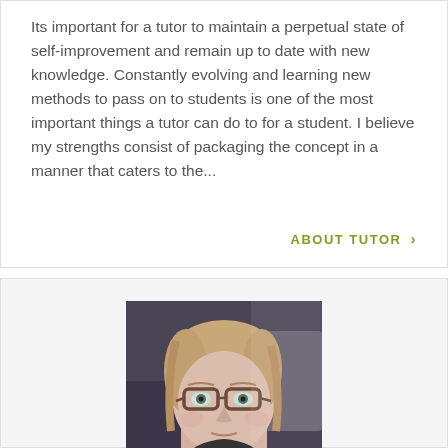Its important for a tutor to maintain a perpetual state of self-improvement and remain up to date with new knowledge. Constantly evolving and learning new methods to pass on to students is one of the most important things a tutor can do to for a student. I believe my strengths consist of packaging the concept in a manner that caters to the...
ABOUT TUTOR >
[Figure (photo): Portrait photo of a woman with glasses and blonde hair, looking at camera, seated in a car]